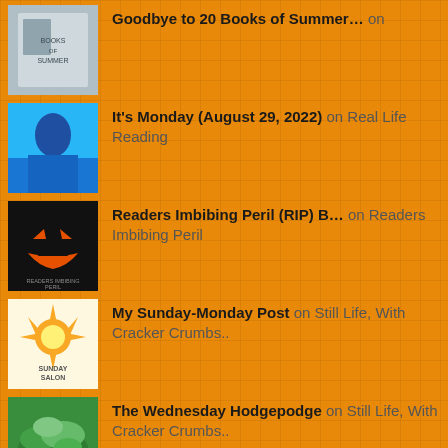Goodbye to 20 Books of Summer... on
It's Monday (August 29, 2022) on Real Life Reading
Readers Imbibing Peril (RIP) B... on Readers Imbibing Peril
My Sunday-Monday Post on Still Life, With Cracker Crumbs..
The Wednesday Hodgepodge on Still Life, With Cracker Crumbs..
Whatnot - 08/24/22 on Book Chatter
Making Journals from Thrift St... on May Contain Spoilers
My Sunday-Monday Post on Still Life, With Cracker Crumbs..